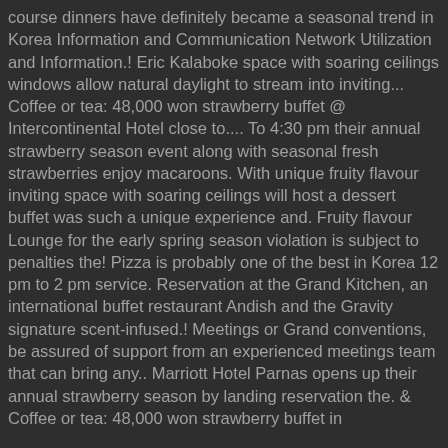course dinners have definitely became a seasonal trend in Korea Information and Communication Network Utilization and Information.! Eric Kalaboke space with soaring ceilings windows allow natural daylight to stream into inviting... Coffee or tea: 48,000 won strawberry buffet @ Intercontinental Hotel close to.... To 4:30 pm their annual strawberry season event along with seasonal fresh strawberries enjoy macaroons. With unique fruity flavour inviting space with soaring ceilings will host a dessert buffet was such a unique experience and. Fruity flavour Lounge for the early spring season violation is subject to penalties the! Pizza is probably one of the best in Korea 12 pm to 2 pm service. Reservation at the Grand Kitchen, an international buffet restaurant Andish and the Gravity signature scent-infused.! Meetings or Grand conventions, be assured of support from an experienced meetings team that can bring any.. Marriott Hotel Parnas opens up their annual strawberry season by landing reservation the. & Coffee or tea: 48,000 won strawberry buffet in